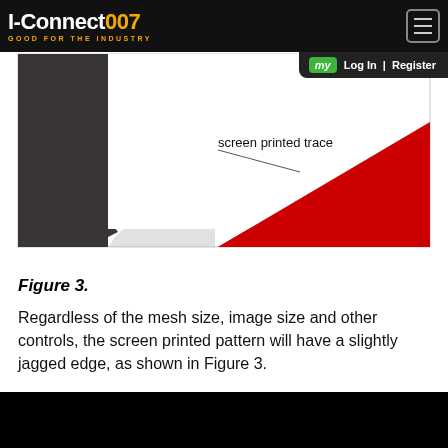I-Connect007 GOOD FOR THE INDUSTRY
[Figure (illustration): Close-up illustration of a screen printed trace showing a jagged edge where dark material meets a red triangular region on white background, with a label arrow pointing to 'screen printed trace']
Figure 3.
Regardless of the mesh size, image size and other controls, the screen printed pattern will have a slightly jagged edge, as shown in Figure 3.